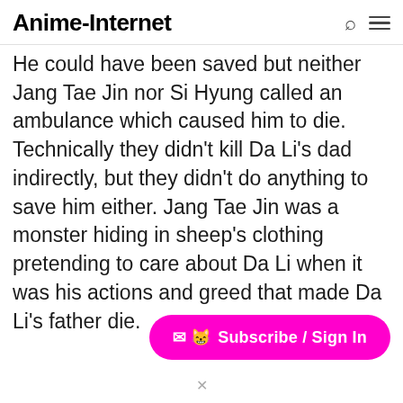Anime-Internet
He could have been saved but neither Jang Tae Jin nor Si Hyung called an ambulance which caused him to die. Technically they didn't kill Da Li's dad indirectly, but they didn't do anything to save him either. Jang Tae Jin was a monster hiding in sheep's clothing pretending to care about Da Li when it was his actions and greed that made Da Li's father die.
[Figure (other): Subscribe / Sign In button with envelope and cat icons, magenta/pink rounded pill button]